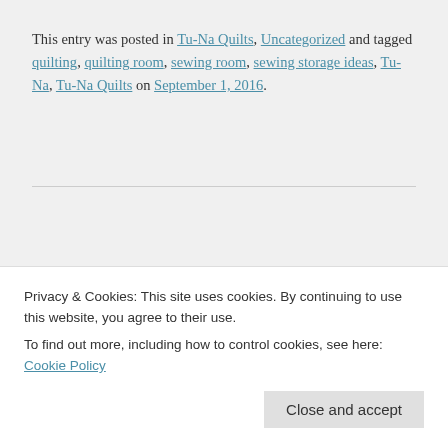This entry was posted in Tu-Na Quilts, Uncategorized and tagged quilting, quilting room, sewing room, sewing storage ideas, Tu-Na, Tu-Na Quilts on September 1, 2016.
← Tu-Na Travels: The 2016 Quilt Minnesota Fabric Loot
Tu-Na Quilts: A Pattern Idea in the Making →
Privacy & Cookies: This site uses cookies. By continuing to use this website, you agree to their use. To find out more, including how to control cookies, see here: Cookie Policy
Close and accept